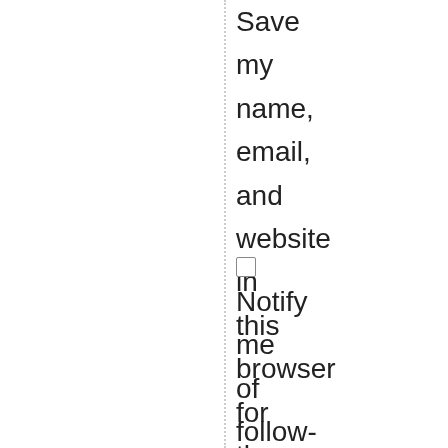Save my name, email, and website in this browser for the next time I comment.
☐ Notify me of follow-up comments by email.